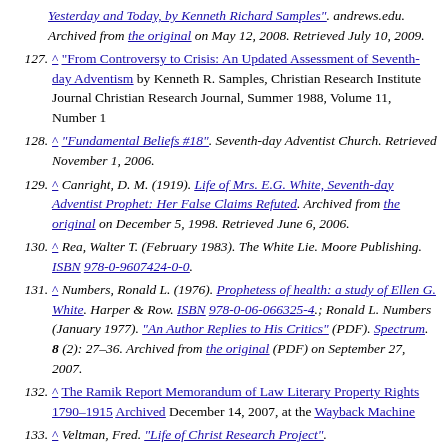continuation: Yesterday and Today, by Kenneth Richard Samples". andrews.edu. Archived from the original on May 12, 2008. Retrieved July 10, 2009.
127. ^ "From Controversy to Crisis: An Updated Assessment of Seventh-day Adventism by Kenneth R. Samples, Christian Research Institute Journal Christian Research Journal, Summer 1988, Volume 11, Number 1
128. ^ "Fundamental Beliefs #18". Seventh-day Adventist Church. Retrieved November 1, 2006.
129. ^ Canright, D. M. (1919). Life of Mrs. E.G. White, Seventh-day Adventist Prophet: Her False Claims Refuted. Archived from the original on December 5, 1998. Retrieved June 6, 2006.
130. ^ Rea, Walter T. (February 1983). The White Lie. Moore Publishing. ISBN 978-0-9607424-0-0.
131. ^ Numbers, Ronald L. (1976). Prophetess of health: a study of Ellen G. White. Harper & Row. ISBN 978-0-06-066325-4.; Ronald L. Numbers (January 1977). "An Author Replies to His Critics" (PDF). Spectrum. 8 (2): 27-36. Archived from the original (PDF) on September 27, 2007.
132. ^ The Ramik Report Memorandum of Law Literary Property Rights 1790-1915 Archived December 14, 2007, at the Wayback Machine
133. ^ Veltman, Fred. "Life of Christ Research Project".
134. ^ Veltman, Fred (1988). Life of Christ Research Project.